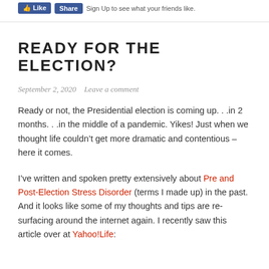Like  Share  Sign Up to see what your friends like.
READY FOR THE ELECTION?
September 2, 2020   Leave a comment
Ready or not, the Presidential election is coming up. . .in 2 months. . .in the middle of a pandemic. Yikes! Just when we thought life couldn’t get more dramatic and contentious – here it comes.
I’ve written and spoken pretty extensively about Pre and Post-Election Stress Disorder (terms I made up) in the past. And it looks like some of my thoughts and tips are re-surfacing around the internet again. I recently saw this article over at Yahoo!Life: